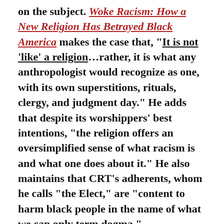on the subject. Woke Racism: How a New Religion Has Betrayed Black America makes the case that, "It is not 'like' a religion...rather, it is what any anthropologist would recognize as one, with its own superstitions, rituals, clergy, and judgment day." He adds that despite its worshippers' best intentions, "the religion offers an oversimplified sense of what racism is and what one does about it." He also maintains that CRT's adherents, whom he calls "the Elect," are "content to harm black people in the name of what we can only term dogma."
Religion or not, how do we put an end to it? The answer actually comes from Theresa Montaño, a